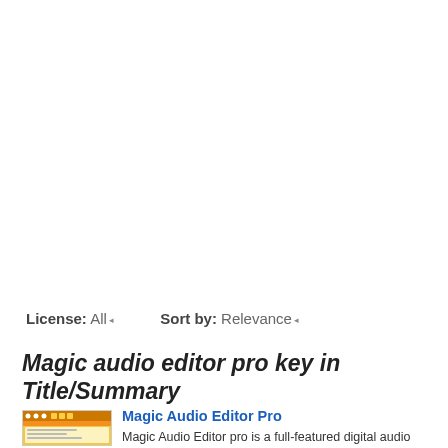License: All  Sort by: Relevance
Magic audio editor pro key in Title/Summary
[Figure (screenshot): Thumbnail screenshot of Magic Audio Editor Pro software interface with orange toolbar]
Magic Audio Editor Pro
Magic Audio Editor pro is a full-featured digital audio editing